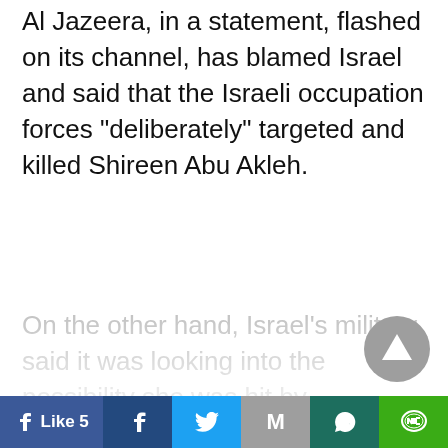Al Jazeera, in a statement, flashed on its channel, has blamed Israel and said that the Israeli occupation forces "deliberately" targeted and killed Shireen Abu Akleh.
On the other hand, Israel's military said it was looking into the possibility she was hit by
[Figure (other): Show Full Story button - black rounded rectangle with white bold text]
[Figure (other): Scroll to top button - grey circle with upward triangle arrow]
Like 5 | Facebook | Twitter | Gmail | WhatsApp | Line